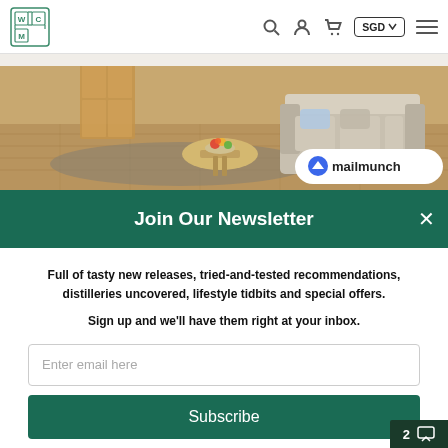WCM logo | Search | Account | Cart | SGD | Menu
[Figure (photo): Living room interior with sofa, coffee table with fruit bowl, wooden flooring, and decorative screen. Mailmunch badge overlay in bottom right.]
Join Our Newsletter
Full of tasty new releases, tried-and-tested recommendations, distilleries uncovered, lifestyle tidbits and special offers.
Sign up and we'll have them right at your inbox.
Enter email here
Subscribe